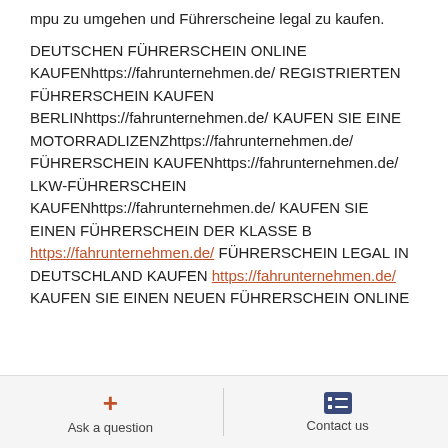mpu zu umgehen und Führerscheine legal zu kaufen.
DEUTSCHEN FÜHRERSCHEIN ONLINE KAUFENhttps://fahrunternehmen.de/ REGISTRIERTEN FÜHRERSCHEIN KAUFEN BERLINhttps://fahrunternehmen.de/ KAUFEN SIE EINE MOTORRADLIZENZhttps://fahrunternehmen.de/ FÜHRERSCHEIN KAUFENhttps://fahrunternehmen.de/ LKW-FÜHRERSCHEIN KAUFENhttps://fahrunternehmen.de/ KAUFEN SIE EINEN FÜHRERSCHEIN DER KLASSE B https://fahrunternehmen.de/ FÜHRERSCHEIN LEGAL IN DEUTSCHLAND KAUFEN https://fahrunternehmen.de/ KAUFEN SIE EINEN NEUEN FÜHRERSCHEIN ONLINE
Ask a question   Contact us